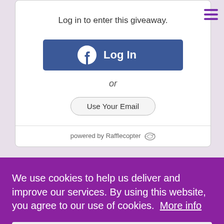Log in to enter this giveaway.
[Figure (screenshot): Facebook Log In button (blue rounded rectangle with Facebook icon and 'Log In' text)]
or
[Figure (screenshot): Use Your Email button (light gray rounded border button)]
powered by Rafflecopter
We use cookies to help us deliver and improve our services. By using this website, you agree to our use of cookies.  More info
[Figure (screenshot): I agree! button (white rectangle button)]
Today we are very excited to share an